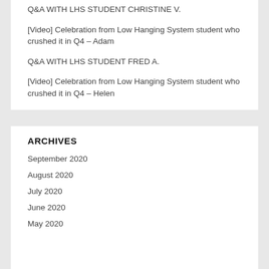Q&A WITH LHS STUDENT CHRISTINE V.
[Video] Celebration from Low Hanging System student who crushed it in Q4 – Adam
Q&A WITH LHS STUDENT FRED A.
[Video] Celebration from Low Hanging System student who crushed it in Q4 – Helen
ARCHIVES
September 2020
August 2020
July 2020
June 2020
May 2020